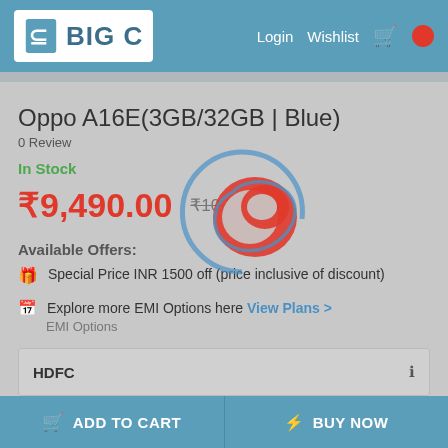BIG C — Login  Wishlist
Oppo A16E(3GB/32GB | Blue)
0 Review
In Stock
₹9,490.00   ₹10,990.00
Available Offers:
Special Price INR 1500 off (price inclusive of discount)
Explore more EMI Options here View Plans >
EMI Options
| Bank |  |
| --- | --- |
| HDFC |  |
ADD TO CART   BUY NOW